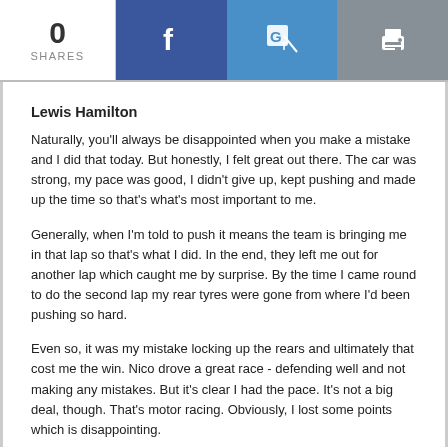0 SHARES | Facebook | Google Translate | Print
Lewis Hamilton
Naturally, you'll always be disappointed when you make a mistake and I did that today. But honestly, I felt great out there. The car was strong, my pace was good, I didn't give up, kept pushing and made up the time so that's what's most important to me.
Generally, when I'm told to push it means the team is bringing me in that lap so that's what I did. In the end, they left me out for another lap which caught me by surprise. By the time I came round to do the second lap my rear tyres were gone from where I'd been pushing so hard.
Even so, it was my mistake locking up the rears and ultimately that cost me the win. Nico drove a great race - defending well and not making any mistakes. But it's clear I had the pace. It's not a big deal, though. That's motor racing. Obviously, I lost some points which is disappointing.